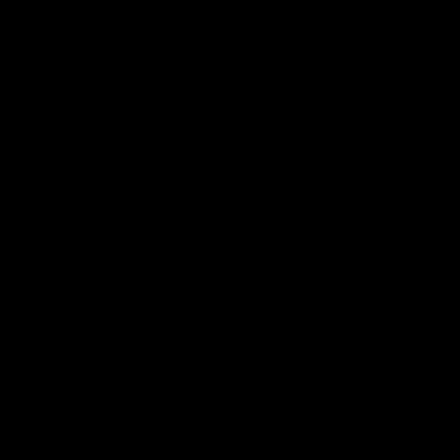[Figure (photo): Completely black image, no visible content or text. The entire page is filled with solid black color.]